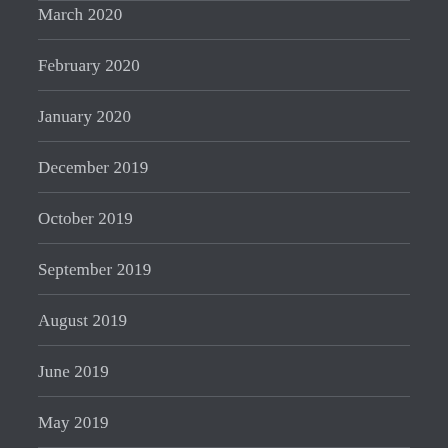March 2020
February 2020
January 2020
December 2019
October 2019
September 2019
August 2019
June 2019
May 2019
April 2019
March 2019
February 2019